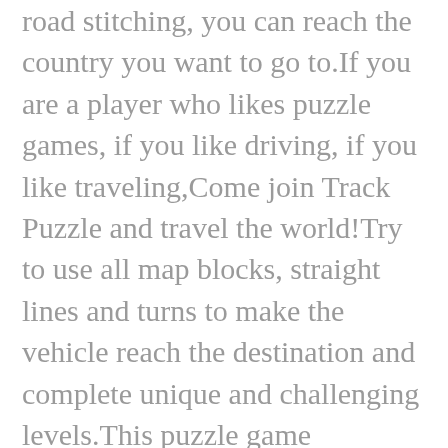road stitching, you can reach the country you want to go to.If you are a player who likes puzzle games, if you like driving, if you like traveling,Come join Track Puzzle and travel the world!Try to use all map blocks, straight lines and turns to make the vehicle reach the destination and complete unique and challenging levels.This puzzle game combines road stitching with car themes. Help the car to reach the destination quickly, otherwise the challenge will fail and you will lose a little energy.For players who like to play pipe connection games, you will experience an incredible and addictive level map. Through the simple operation of the level, you can accumulate travel funds around the world!Whether you are a young man or an adult, come and join Track Puzzle to...